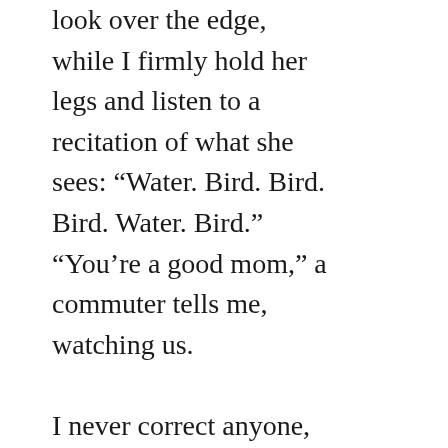look over the edge, while I firmly hold her legs and listen to a recitation of what she sees: “Water. Bird. Bird. Bird. Water. Bird.” “You’re a good mom,” a commuter tells me, watching us.

I never correct anyone, never reveal that I’m just the nanny. Mostly this is because I am at a stage in my life, at 25,